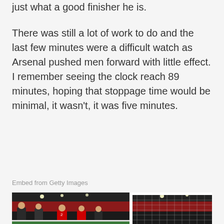just what a good finisher he is.
There was still a lot of work to do and the last few minutes were a difficult watch as Arsenal pushed men forward with little effect. I remember seeing the clock reach 89 minutes, hoping that stoppage time would be minimal, it wasn't, it was five minutes.
Embed from Getty Images
[Figure (photo): Football match scene at Arsenal stadium showing players near the goal, with red stadium seats visible in the background. Players in Arsenal red and opponent dark kits. A large white goalpost and net visible on the right side.]